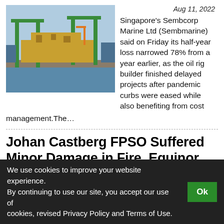[Figure (photo): Industrial shipyard with green cranes and offshore oil rig platform under construction]
Aug 11, 2022
Singapore's Sembcorp Marine Ltd (Sembmarine) said on Friday its half-year loss narrowed 78% from a year earlier, as the oil rig builder finished delayed projects after pandemic curbs were eased while also benefiting from cost management.The…
Johan Castberg FPSO Suffered Minor Damage in Fire, Equinor Says
[Figure (photo): Coastal landscape with water and mountains in background, overcast sky]
Aug 11, 2022
Equinor's Johan Castberg floating production, storage
We use cookies to improve your website experience. By continuing to use our site, you accept our use of cookies, revised Privacy Policy and Terms of Use.